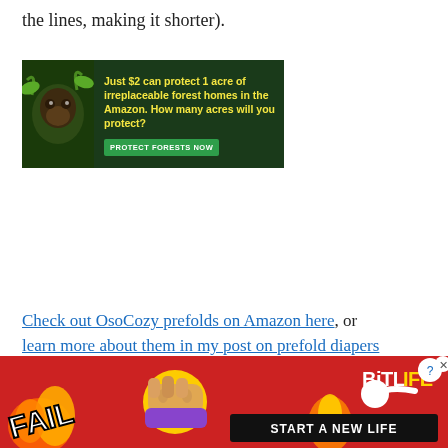the lines, making it shorter).
[Figure (photo): Advertisement banner for Amazon forest protection: 'Just $2 can protect 1 acre of irreplaceable forest homes in the Amazon. How many acres will you protect?' with a 'PROTECT FORESTS NOW' button. Features a monkey/gorilla image on dark forest background.]
Check out OsoCozy prefolds on Amazon here, or learn more about them in my post on prefold diapers
[Figure (photo): Advertisement banner for BitLife game: shows 'FAIL' text, emoji characters, flames, and 'START A NEW LIFE' banner with BitLife logo and close button.]